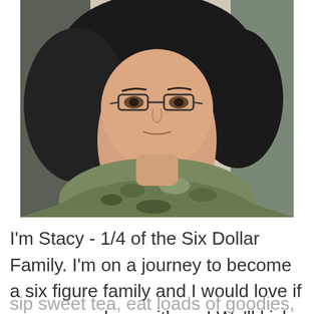[Figure (photo): A woman with dark curly hair and glasses wearing a camouflage shirt, taking a selfie inside a vehicle.]
I'm Stacy - 1/4 of the Six Dollar Family. I'm on a journey to become a six figure family and I would love if you came along with me! We'll kick off our shoes, sip sweet tea, eat loads of goodies, save some money and maybe even